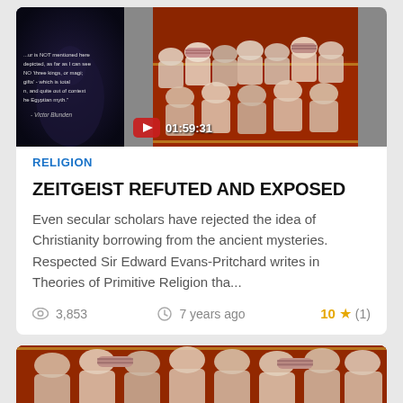[Figure (screenshot): Left thumbnail: dark image with quote text overlay. Right thumbnail: people praying on red carpet, YouTube play button overlay with timestamp 01:59:31]
RELIGION
ZEITGEIST REFUTED AND EXPOSED
Even secular scholars have rejected the idea of Christianity borrowing from the ancient mysteries. Respected Sir Edward Evans-Pritchard writes in Theories of Primitive Religion tha...
3,853   7 years ago   10 ★ (1)
[Figure (photo): Bottom card showing people praying on red carpet, partially visible]